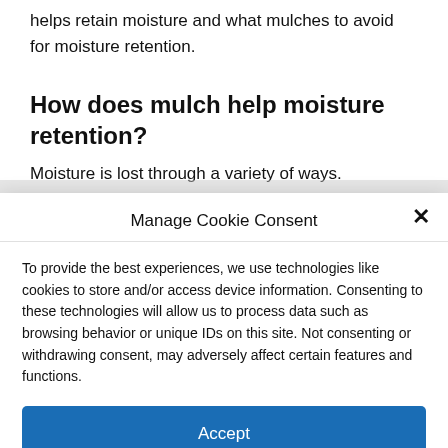helps retain moisture and what mulches to avoid for moisture retention.
How does mulch help moisture retention?
Moisture is lost through a variety of ways. Evaporation of
Manage Cookie Consent
To provide the best experiences, we use technologies like cookies to store and/or access device information. Consenting to these technologies will allow us to process data such as browsing behavior or unique IDs on this site. Not consenting or withdrawing consent, may adversely affect certain features and functions.
Accept
Cookie Policy   Privacy Statement